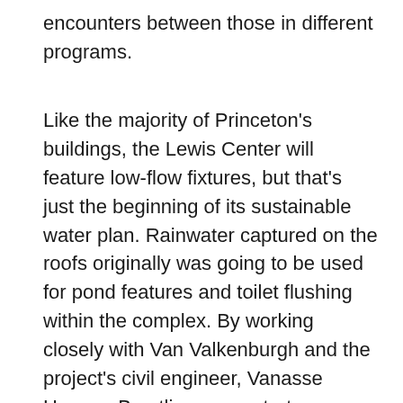encounters between those in different programs.
Like the majority of Princeton's buildings, the Lewis Center will feature low-flow fixtures, but that's just the beginning of its sustainable water plan. Rainwater captured on the roofs originally was going to be used for pond features and toilet flushing within the complex. By working closely with Van Valkenburgh and the project's civil engineer, Vanasse Hangen Brustlin, a new strategy was devised that has all the roof catchment in the area feeding into the